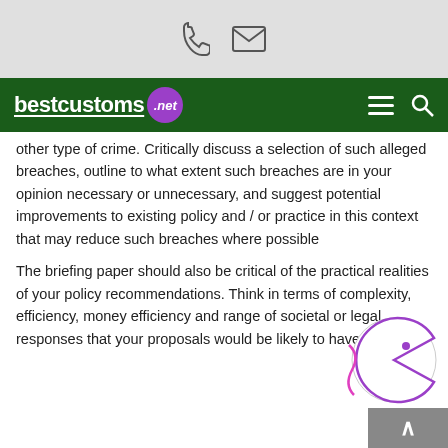bestcustoms.net
other type of crime. Critically discuss a selection of such alleged breaches, outline to what extent such breaches are in your opinion necessary or unnecessary, and suggest potential improvements to existing policy and / or practice in this context that may reduce such breaches where possible
The briefing paper should also be critical of the practical realities of your policy recommendations. Think in terms of complexity, efficiency, money efficiency and range of societal or legal responses that your proposals would be likely to have.